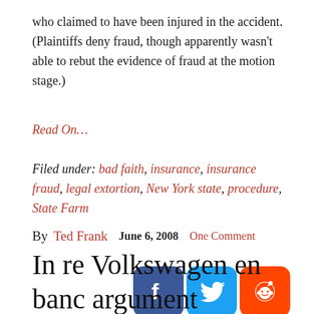who claimed to have been injured in the accident. (Plaintiffs deny fraud, though apparently wasn't able to rebut the evidence of fraud at the motion stage.)
Read On…
Filed under: bad faith, insurance, insurance fraud, legal extortion, New York state, procedure, State Farm
By Ted Frank  June 6, 2008  One Comment
[Figure (infographic): Social media share buttons: Facebook (dark blue), Twitter (light blue), Reddit (orange)]
In re Volkswagen en banc argument